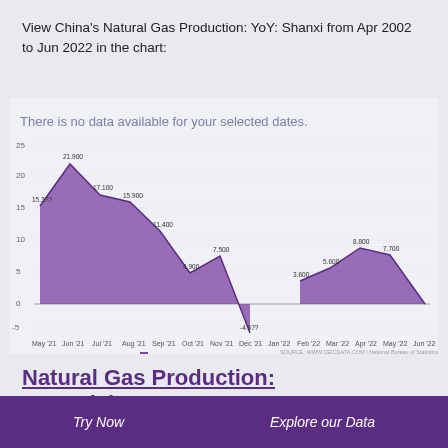View China's Natural Gas Production: YoY: Shanxi from Apr 2002 to Jun 2022 in the chart:
There is no data available for your selected dates.
[Figure (area-chart): CN: Natural Gas Production: YoY: Shanxi]
Natural Gas Production: YoY: Sichuan
2002 - 2022 | MONTHLY | % | NATIONAL BUREAU OF STATISTICS
Try Now    Explore our Data